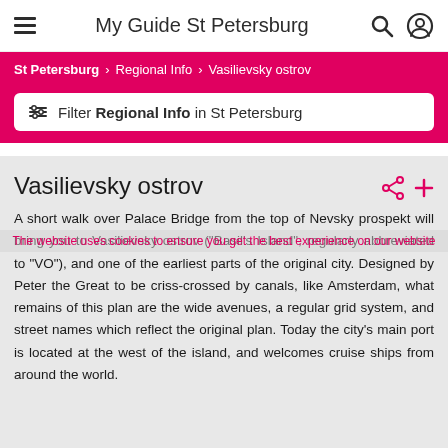My Guide St Petersburg
St Petersburg > Regional Info > Vasilievsky ostrov
Filter Regional Info in St Petersburg
Vasilievsky ostrov
A short walk over Palace Bridge from the top of Nevsky prospekt will bring you to Vasilievsky ostrov ("Basil's Island", regularly abbreviated to "VO"), and one of the earliest parts of the original city. Designed by Peter the Great to be criss-crossed by canals, like Amsterdam, what remains of this plan are the wide avenues, a regular grid system, and street names which reflect the original plan. Today the city's main port is located at the west of the island, and welcomes cruise ships from around the world.